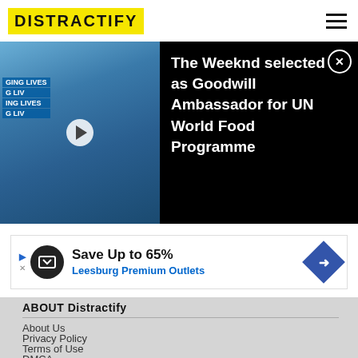DISTRACTIFY
[Figure (photo): News banner showing two men standing together at a UN World Food Programme event with blue signage, alongside headline text on black background.]
The Weeknd selected as Goodwill Ambassador for UN World Food Programme
[Figure (screenshot): Advertisement banner: Save Up to 65% Leesburg Premium Outlets]
ABOUT Distractify
About Us
Privacy Policy
Terms of Use
DMCA
Sitemap